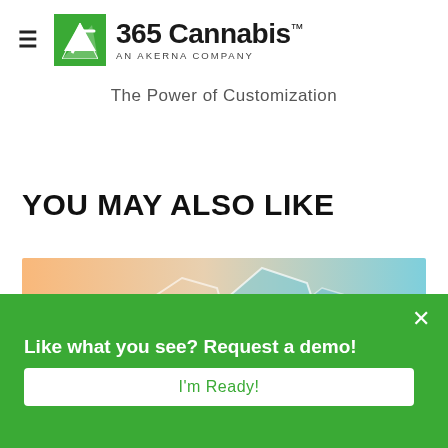365 Cannabis — AN AKERNA COMPANY
The Power of Customization
YOU MAY ALSO LIKE
[Figure (photo): Article thumbnail image showing hands and hexagonal ERP graphic overlay with teal and orange tones]
Like what you see? Request a demo!
I'm Ready!